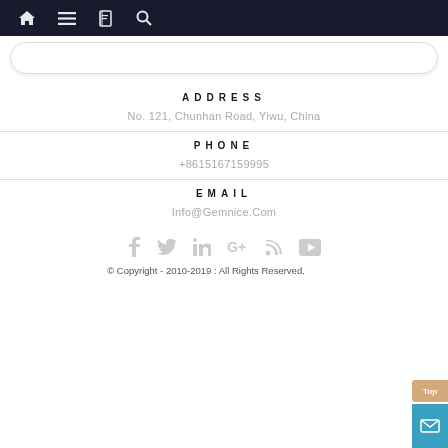Navigation bar with home, menu, book, and search icons
ADDRESS
No. 121, Chunhan Road, Yiwu, China
PHONE
+8615167159995
EMAIL
Info@Gemnice.Com
[Figure (other): Social media icons: Facebook, Twitter, LinkedIn, Google+, RSS, YouTube]
© Copyright - 2010-2019 : All Rights Reserved.